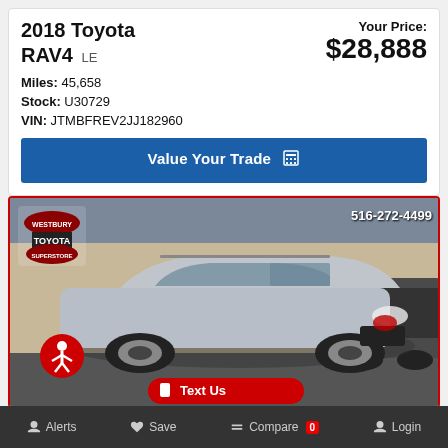2018 Toyota RAV4 LE
Your Price: $28,888
Miles: 45,658
Stock: U30729
VIN: JTMBFREV2JJ182960
Value Your Trade
[Figure (photo): 2018 Toyota RAV4 LE silver SUV parked at Westbury Toyota dealership. Phone number 516-272-4499 visible in top right. Westbury Toyota Superstore logo in top left. Accessibility icon bottom left. Text Us button at bottom center.]
Alerts   Save   Compare 0   Login